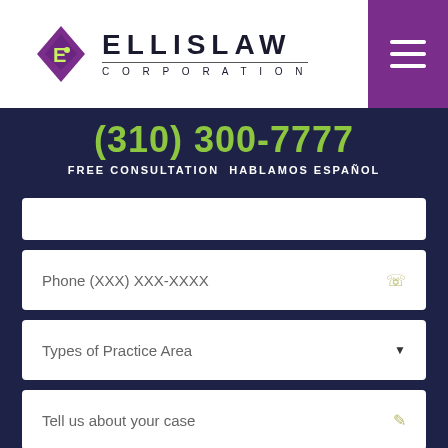[Figure (logo): Ellis Law Corporation logo with purple diamond/letter E icon and bold ELLISLAW CORPORATION text]
(310) 300-7777
FREE CONSULTATION | HABLAMOS ESPAÑOL
Phone (XXX) XXX-XXXX
Types of Practice Area
Tell us about your case
LIVE CHAT > START NOW